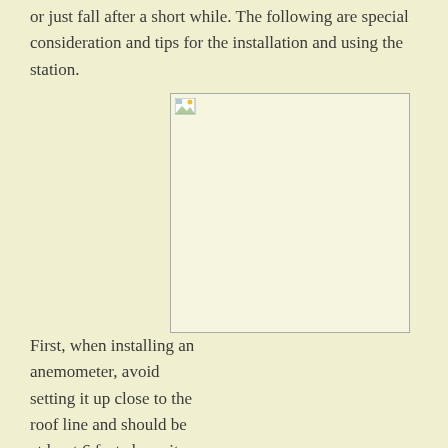or just fall after a short while. The following are special consideration and tips for the installation and using the station.
[Figure (photo): A placeholder image box representing an anemometer installation photo, shown as a broken image icon in the top-left corner of a light-colored rectangle.]
First, when installing an anemometer, avoid setting it up close to the roof line and should be at least 6 feet above it. Only, ensure that the anemometer exceeds the height of the roofline for about four times. This device needs enough space around it to deliver expected results. Consider installing it on a post and a safe distance of about 40 feet away from any barriers.
Secondly, thermometers need a well ventilated and shaded region. This is to prevent getting skewed data likely to affect the end results. Elements like direct sunlight will just give you readings from the